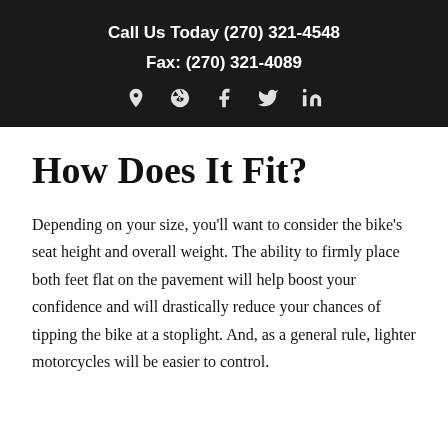Call Us Today (270) 321-4548
Fax: (270) 321-4089
How Does It Fit?
Depending on your size, you'll want to consider the bike's seat height and overall weight. The ability to firmly place both feet flat on the pavement will help boost your confidence and will drastically reduce your chances of tipping the bike at a stoplight. And, as a general rule, lighter motorcycles will be easier to control.